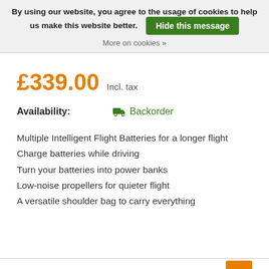By using our website, you agree to the usage of cookies to help us make this website better. Hide this message More on cookies »
£339.00 Incl. tax
Availability: Backorder
Multiple Intelligent Flight Batteries for a longer flight
Charge batteries while driving
Turn your batteries into power banks
Low-noise propellers for quieter flight
A versatile shoulder bag to carry everything